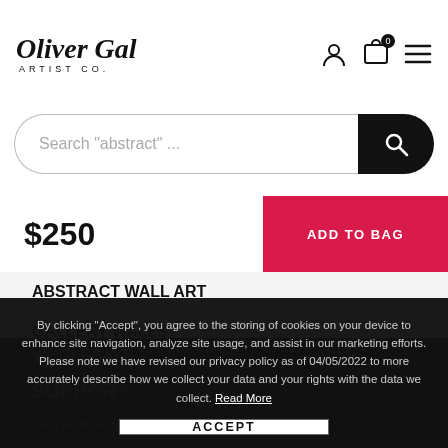[Figure (logo): Oliver Gal Artist Co. logo in cursive black script]
Search "abstract" ...
$250
ADD TO BAG
ABSTRACT WALL ART
GALLERY WALLS
PET WALL ART
GIFT CARDS
WHOLESALE
SUPPORT
FAQ & RETURNS
CONTACT US
By clicking "Accept", you agree to the storing of cookies on your device to enhance site navigation, analyze site usage, and assist in our marketing efforts. Please note we have revised our privacy policy as of 04/05/2022 to more accurately describe how we collect your data and your rights with the data we collect. Read More
ACCEPT
Decline